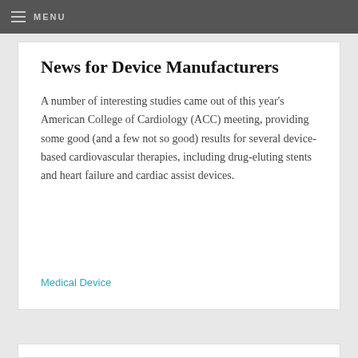MENU
News for Device Manufacturers
A number of interesting studies came out of this year's American College of Cardiology (ACC) meeting, providing some good (and a few not so good) results for several device-based cardiovascular therapies, including drug-eluting stents and heart failure and cardiac assist devices.
Medical Device